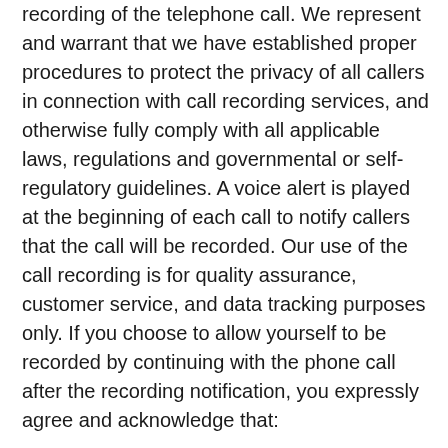recording of the telephone call. We represent and warrant that we have established proper procedures to protect the privacy of all callers in connection with call recording services, and otherwise fully comply with all applicable laws, regulations and governmental or self-regulatory guidelines. A voice alert is played at the beginning of each call to notify callers that the call will be recorded. Our use of the call recording is for quality assurance, customer service, and data tracking purposes only. If you choose to allow yourself to be recorded by continuing with the phone call after the recording notification, you expressly agree and acknowledge that:
Our employees, contractors, officers, agents, authorized representatives or other trusted third parties may listen to a call that has been recorded on our behalf;
Recording, transcribing, monitoring, analyzing and archiving calls may include, without limitation, the reporting and archiving of personal and non-personal